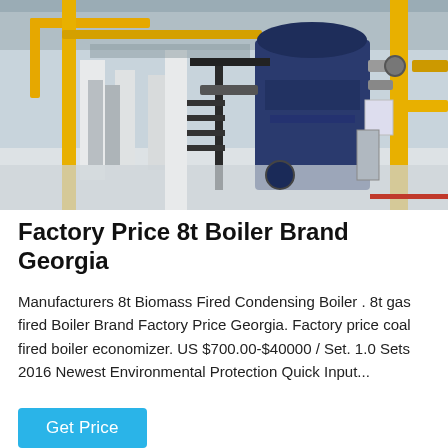[Figure (photo): Industrial boiler room interior with large blue cylindrical boilers, yellow pipes and columns, metal staircases, and a white epoxy floor. Equipment includes multiple boiler units with connecting pipework and control panels.]
Factory Price 8t Boiler Brand Georgia
Manufacturers 8t Biomass Fired Condensing Boiler . 8t gas fired Boiler Brand Factory Price Georgia. Factory price coal fired boiler economizer. US $700.00-$40000 / Set. 1.0 Sets 2016 Newest Environmental Protection Quick Input...
Get Price